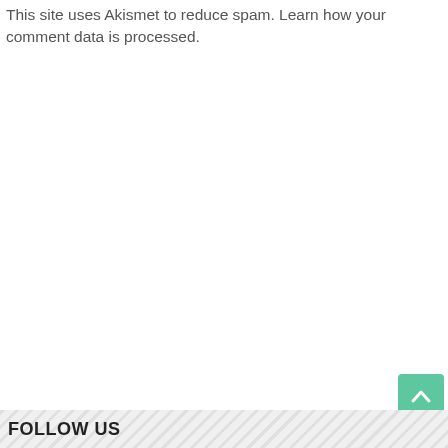This site uses Akismet to reduce spam. Learn how your comment data is processed.
FOLLOW US